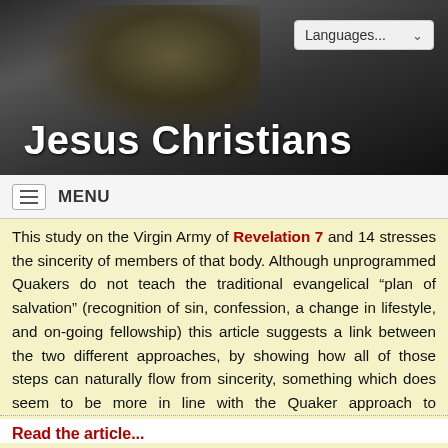[Figure (screenshot): Website header banner for 'Jesus Christians' with dark background showing a hand holding money, and a language selector dropdown in the top right.]
Jesus Christians
MENU
This study on the Virgin Army of Revelation 7 and 14 stresses the sincerity of members of that body. Although unprogrammed Quakers do not teach the traditional evangelical “plan of salvation” (recognition of sin, confession, a change in lifestyle, and on-going fellowship) this article suggests a link between the two different approaches, by showing how all of those steps can naturally flow from sincerity, something which does seem to be more in line with the Quaker approach to spirituality.
(See also The Twelve Tribes, In Search of Truth, and The Virgin Army, part 2.)
Read the article...